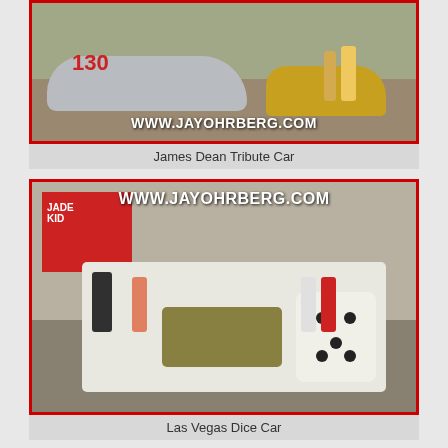[Figure (photo): Photo of the James Dean Tribute Car, a silver racing car numbered 130, with a gold car and people visible in the background. Watermark reads WWW.JAYOHRBERG.COM]
James Dean Tribute Car
[Figure (photo): Photo of the Las Vegas Dice Car on display at an auto show. The car features large dice shapes and an exposed engine. Several people are standing around viewing the exhibit. Watermark reads WWW.JAYOHRBERG.COM]
Las Vegas Dice Car
[Figure (photo): Partial photo (bottom of page, cropped) showing people outdoors near a car and tropical foliage. Watermark reads WWW.JAYOHRBERG.COM]